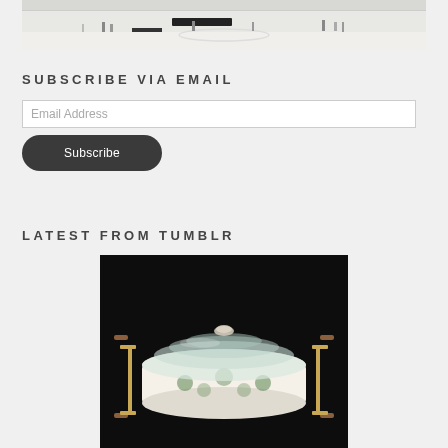[Figure (photo): Museum interior with visitors walking around a white gallery space, viewed from above]
SUBSCRIBE VIA EMAIL
Email Address
Subscribe
LATEST FROM TUMBLR
[Figure (photo): A ceramic casserole dish with a glass lid and gold/brass stand with wooden handles, photographed against a black background]